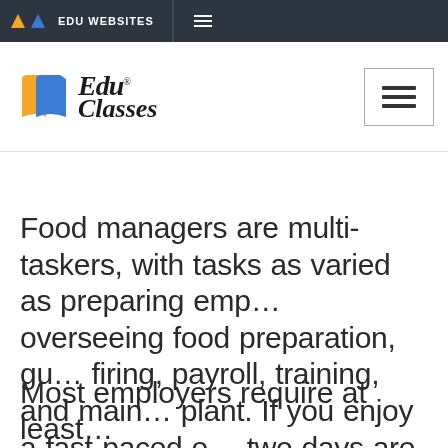EDU WEBSITES
[Figure (logo): EduClasses logo with orange and blue book icons and italic serif text reading 'Edu Classes']
Food managers are multi-taskers, with tasks as varied as preparing emp… overseeing food preparation, gu… firing, payroll, training, and main… plant. If you enjoy a fast-paced e… two days are the same, food serv… just be for you.
Most employers require at least…